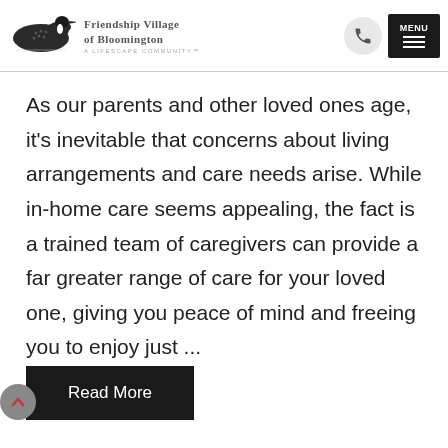Friendship Village of Bloomington — A Lifescape Community
As our parents and other loved ones age, it's inevitable that concerns about living arrangements and care needs arise. While in-home care seems appealing, the fact is a trained team of caregivers can provide a far greater range of care for your loved one, giving you peace of mind and freeing you to enjoy just ...
Read More